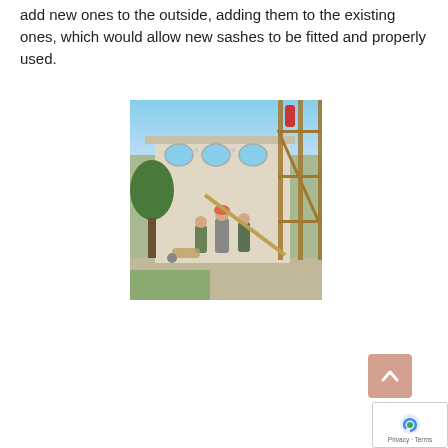add new ones to the outside, adding them to the existing ones, which would allow new sashes to be fitted and properly used.
[Figure (photo): Construction/renovation scene showing workers at the base of a classical building with arched windows on the upper floor, surrounded by scaffolding and with trees visible on the left side.]